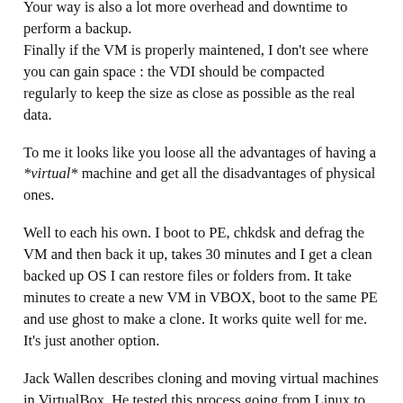Your way is also a lot more overhead and downtime to perform a backup.
Finally if the VM is properly maintened, I don't see where you can gain space : the VDI should be compacted regularly to keep the size as close as possible as the real data.
To me it looks like you loose all the advantages of having a *virtual* machine and get all the disadvantages of physical ones.
Well to each his own. I boot to PE, chkdsk and defrag the VM and then back it up, takes 30 minutes and I get a clean backed up OS I can restore files or folders from. It take minutes to create a new VM in VBOX, boot to the same PE and use ghost to make a clone. It works quite well for me. It's just another option.
Jack Wallen describes cloning and moving virtual machines in VirtualBox. He tested this process going from Linux to Linux,